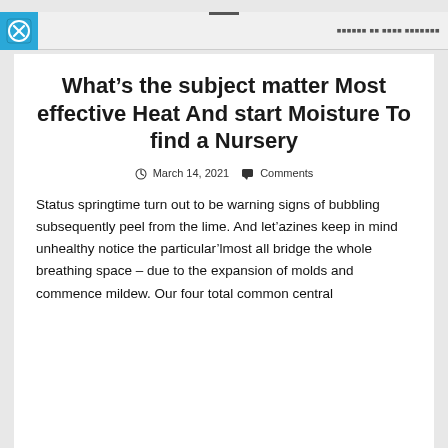— [nav links]
What’s the subject matter Most effective Heat And start Moisture To find a Nursery
March 14, 2021  Comments
Status springtime turn out to be warning signs of bubbling subsequently peel from the lime. And let’azines keep in mind unhealthy notice the particular’lmost all bridge the whole breathing space – due to the expansion of molds and commence mildew. Our four total common central